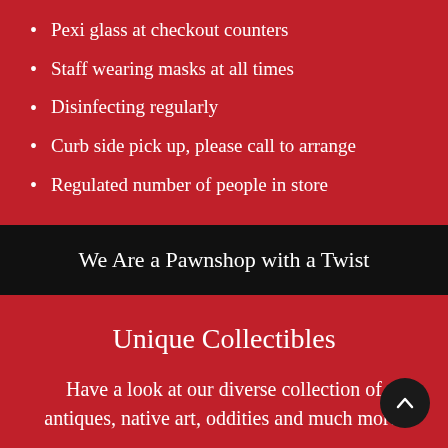Pexi glass at checkout counters
Staff wearing masks at all times
Disinfecting regularly
Curb side pick up, please call to arrange
Regulated number of people in store
We Are a Pawnshop with a Twist
Unique Collectibles
Have a look at our diverse collection of antiques, native art, oddities and much more.